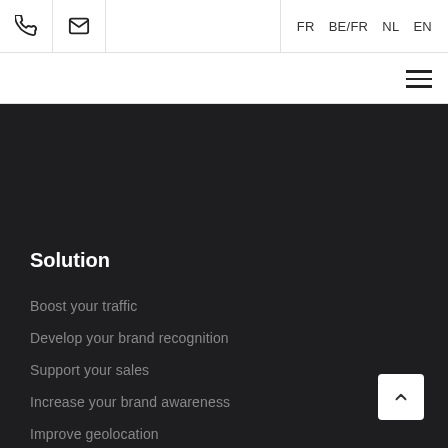Phone | Mail | FR BE/FR NL EN | Menu
Solution
Boost your traffic
Develop your brand recognition
Support your sales
Increase your brand awareness
Improve geolocation
Increase your revenue